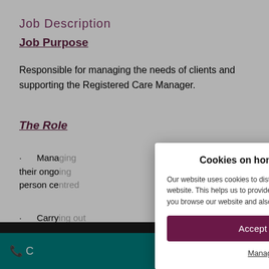Job Description
Job Purpose
Responsible for managing the needs of clients and supporting the Registered Care Manager.
The Role
· Mana... their ongo... person ce...
· Carry... visits and a...
· Provi...
[Figure (screenshot): Cookie consent modal dialog for homeinstead.co.uk with title 'Cookies on homeinstead.co.uk', description text, Accept all cookies button, and Manage cookies link. A close X button is in the top right. A reCAPTCHA badge appears in the bottom right corner.]